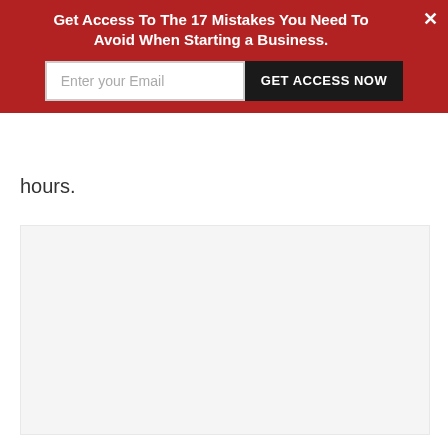[Figure (screenshot): Red promotional banner with white bold text 'Get Access To The 17 Mistakes You Need To Avoid When Starting a Business.' with an email input field and black 'GET ACCESS NOW' button, plus an X close button]
hours.
[Figure (other): Light gray empty content box/placeholder area]